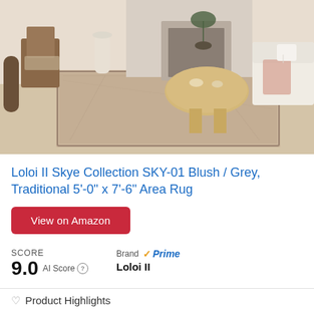[Figure (photo): Photo of a traditional area rug in blush/grey tones displayed in a living room setting with a wooden chair, round coffee table, white sofa, and fireplace in the background.]
Loloi II Skye Collection SKY-01 Blush / Grey, Traditional 5'-0" x 7'-6" Area Rug
View on Amazon
SCORE
9.0  AI Score
Brand  Prime
Loloi II